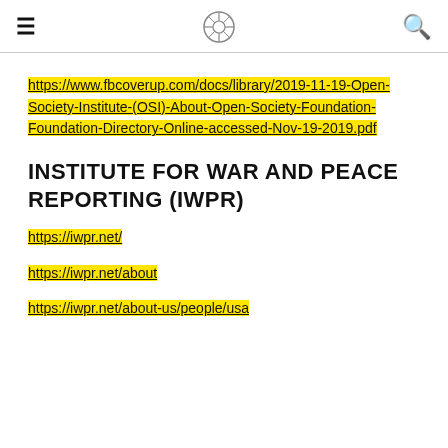≡ [logo] 🔍
https://www.fbcoverup.com/docs/library/2019-11-19-Open-Society-Institute-(OSI)-About-Open-Society-Foundation-Foundation-Directory-Online-accessed-Nov-19-2019.pdf
INSTITUTE FOR WAR AND PEACE REPORTING (IWPR)
https://iwpr.net/
https://iwpr.net/about
https://iwpr.net/about-us/people/usa